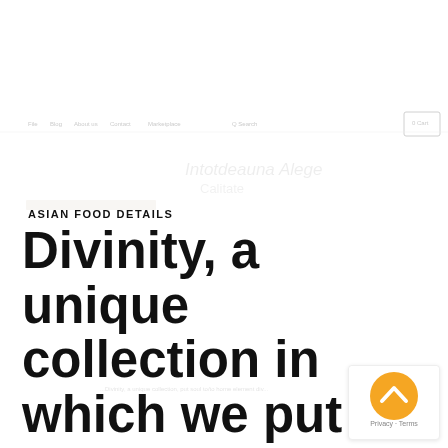[Figure (screenshot): Faint background screenshot of a website with navigation bar and cart icon]
ASIAN FOOD DETAILS
Divinity, a unique collection in which we put soul into every element from which Masara tables are